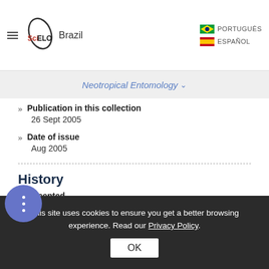SciELO Brazil — Neotropical Entomology
Publication in this collection
26 Sept 2005
Date of issue
Aug 2005
History
Accepted
30 Mar 2005
Received
This site uses cookies to ensure you get a better browsing experience. Read our Privacy Policy.